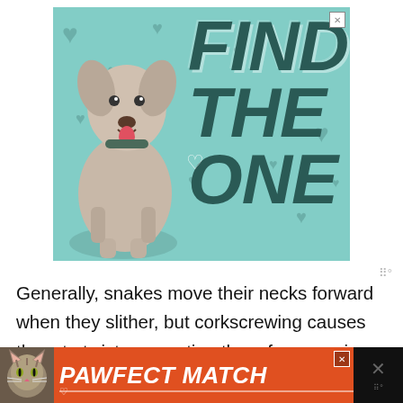[Figure (advertisement): Pet adoption advertisement banner with a Great Dane dog on a teal background with heart patterns. Large bold italic text reads 'FIND THE ONE'. Close button (X) in top right corner.]
Generally, snakes move their necks forward when they slither, but corkscrewing causes them to twist, preventing them from moving. They also lose their sense of direction. It even affects their diet.
[Figure (advertisement): Bottom banner ad on dark background with a cat photo and bold italic text reading 'PAWFECT MATCH' in white on orange, with close (X) button and Moat logo.]